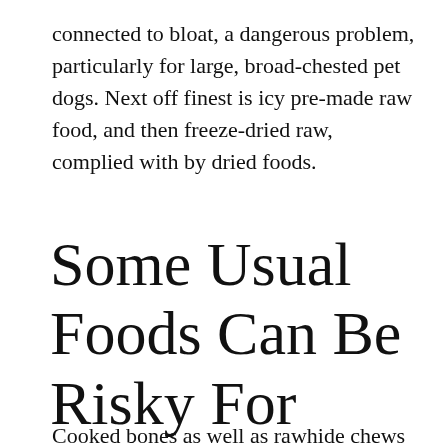connected to bloat, a dangerous problem, particularly for large, broad-chested pet dogs. Next off finest is icy pre-made raw food, and then freeze-dried raw, complied with by dried foods.
Some Usual Foods Can Be Risky For Pets.
Cooked bones as well as rawhide chews can